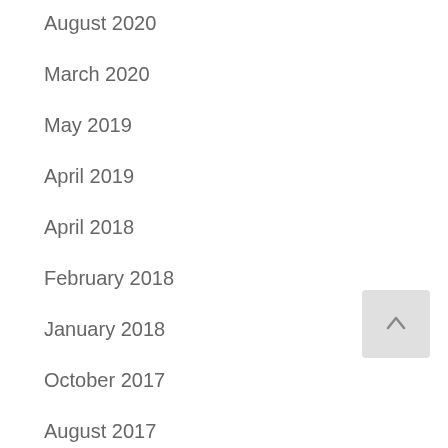August 2020
March 2020
May 2019
April 2019
April 2018
February 2018
January 2018
October 2017
August 2017